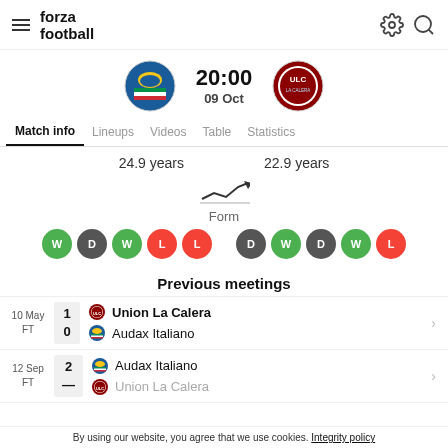forza football
[Figure (other): Match fixture: Audax Italiano vs Union La Calera, 20:00, 09 Oct]
Match info | Lineups | Videos | Table | Statistics
24.9 years   22.9 years
[Figure (other): Form trend line icon]
Form
Left team form: W D W L L  |  Right team form: D W D W L
Previous meetings
| Date | Score | Home Team | Away Team |
| --- | --- | --- | --- |
| 10 May FT | 1 / 0 | Union La Calera | Audax Italiano |
| 12 Sep FT | 2 / ? | Audax Italiano | Union La Calera |
By using our website, you agree that we use cookies. Integrity policy